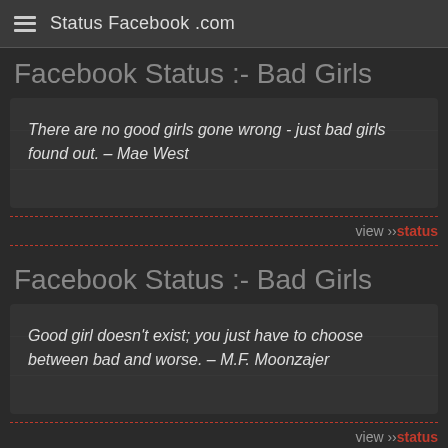Status Facebook .com
Facebook Status :- Bad Girls
There are no good girls gone wrong - just bad girls found out. – Mae West
view ›› status
Facebook Status :- Bad Girls
Good girl doesn't exist; you just have to choose between bad and worse. – M.F. Moonzajer
view ›› status
Facebook Status :- Bad Girls